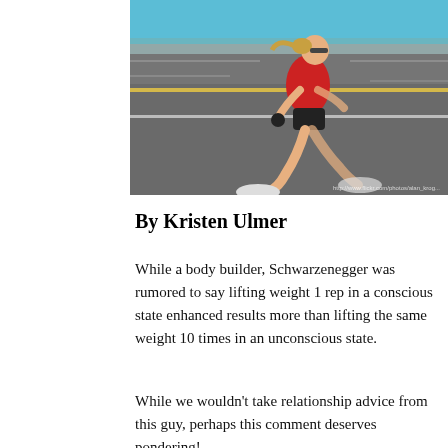[Figure (photo): A female runner in a red top and black shorts running on a road, motion-blurred background suggesting high speed. Photo credit visible in bottom right corner.]
By Kristen Ulmer
While a body builder, Schwarzenegger was rumored to say lifting weight 1 rep in a conscious state enhanced results more than lifting the same weight 10 times in an unconscious state.
While we wouldn't take relationship advice from this guy, perhaps this comment deserves pondering!